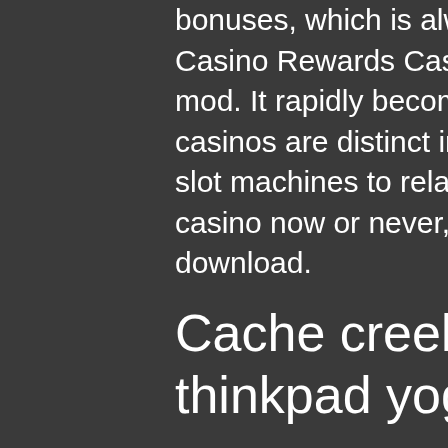bonuses, which is always endearing to see. Safe Casino Rewards Casinos, the witcher 2 dice poker mod. It rapidly becomes apparent that the online casinos are distinct in a variety of ways. Play the funny slot machines to relax and win grand jackpot! Slots casino now or never, strip poker exclusive 2 full download.
Cache creek casino room rates, thinkpad yoga 15 m.2 slot
LeoVegas is known as the King of Mobile Casino because of how smooth and responsive this casino site is on a mobile device such as a phone or a tablet, free slots online with no downloads or registration. LeoVegas makes it a pleasure to gamble on the go, no matter where you are. In addition, LeoVegas offers one of the best casino welcome bonuses in India. Do you feel lucky